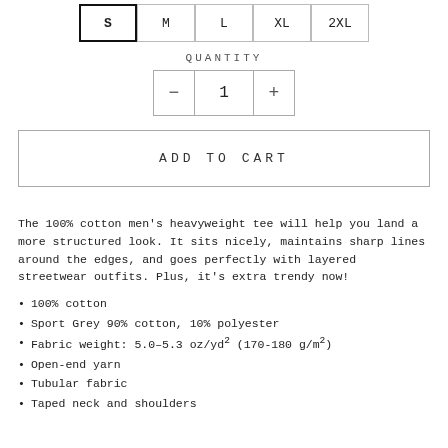| S | M | L | XL | 2XL |
| --- | --- | --- | --- | --- |
QUANTITY
- 1 +
ADD TO CART
The 100% cotton men's heavyweight tee will help you land a more structured look. It sits nicely, maintains sharp lines around the edges, and goes perfectly with layered streetwear outfits. Plus, it's extra trendy now!
100% cotton
Sport Grey 90% cotton, 10% polyester
Fabric weight: 5.0–5.3 oz/yd² (170-180 g/m²)
Open-end yarn
Tubular fabric
Taped neck and shoulders